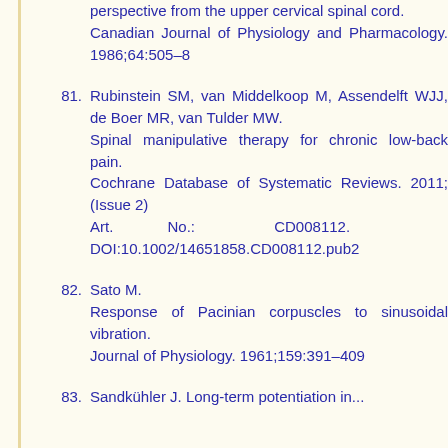perspective from the upper cervical spinal cord. Canadian Journal of Physiology and Pharmacology. 1986;64:505–8
81. Rubinstein SM, van Middelkoop M, Assendelft WJJ, de Boer MR, van Tulder MW. Spinal manipulative therapy for chronic low-back pain. Cochrane Database of Systematic Reviews. 2011;(Issue 2) Art. No.: CD008112. DOI:10.1002/14651858.CD008112.pub2
82. Sato M. Response of Pacinian corpuscles to sinusoidal vibration. Journal of Physiology. 1961;159:391–409
83. Sandkühler J. Long-term potentiation in...